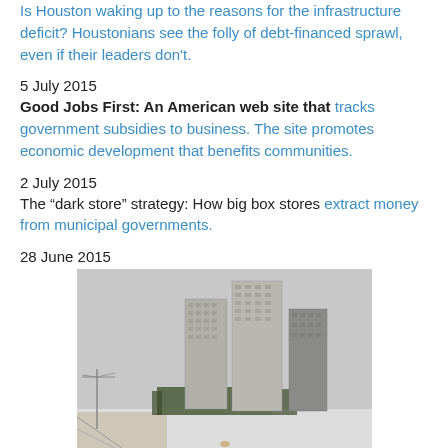Is Houston waking up to the reasons for the infrastructure deficit? Houstonians see the folly of debt-financed sprawl, even if their leaders don't.
5 July 2015
Good Jobs First: An American web site that tracks government subsidies to business. The site promotes economic development that benefits communities.
2 July 2015
The “dark store” strategy: How big box stores extract money from municipal governments.
28 June 2015
[Figure (photo): Snowy urban scene with several high-rise towers against an overcast sky, with a snow-covered road or field in the foreground.]